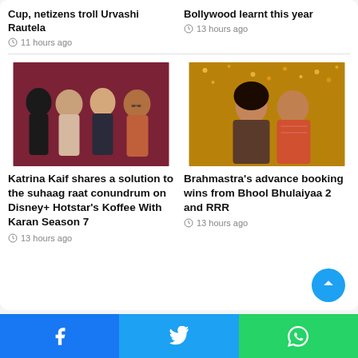Cup, netizens troll Urvashi Rautela
11 hours ago
Bollywood learnt this year
13 hours ago
[Figure (photo): Group photo of four Bollywood celebrities including Katrina Kaif and Karan Johar on a red background]
Katrina Kaif shares a solution to the suhaag raat conundrum on Disney+ Hotstar's Koffee With Karan Season 7
13 hours ago
[Figure (photo): Romantic still from Brahmastra movie showing lead actors with confetti/flowers in background]
Brahmastra's advance booking wins from Bhool Bhulaiyaa 2 and RRR
13 hours ago